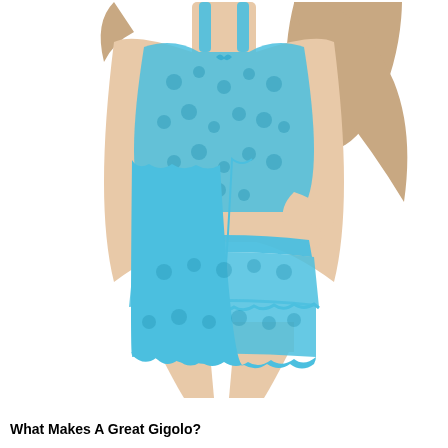[Figure (photo): A woman wearing a blue lace two-piece lingerie set consisting of a lace cami top and a short ruffled lace skirt, photographed from neck to upper thigh against a white background.]
What Makes A Great Gigolo?